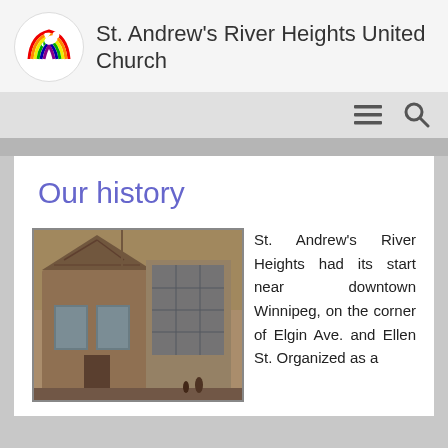St. Andrew's River Heights United Church
Our history
[Figure (photo): Black and white / sepia photograph of St. Andrew's River Heights United Church building exterior, showing the historic church structure with Gothic-style architecture including arched windows and brick construction.]
St. Andrew's River Heights had its start near downtown Winnipeg, on the corner of Elgin Ave. and Ellen St. Organized as a